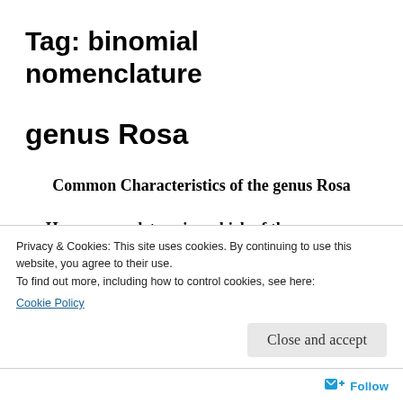Tag: binomial nomenclature
genus Rosa
Common Characteristics of the genus Rosa
How can we determine which of the roses are which in the Richard St. Barbe Baker Afforestation Area and George Genereux...
Privacy & Cookies: This site uses cookies. By continuing to use this website, you agree to their use.
To find out more, including how to control cookies, see here: Cookie Policy
Close and accept